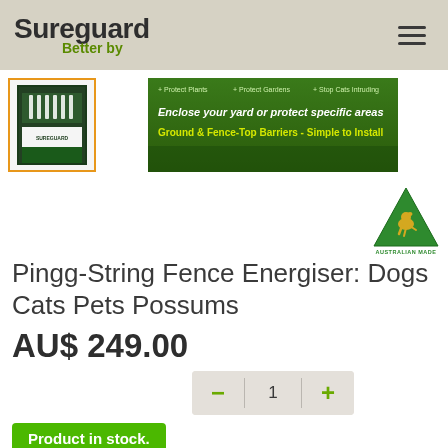Sureguard Better by
[Figure (photo): Product thumbnail of Pingg-String Fence Energiser box with orange border]
[Figure (infographic): Green banner: Protect Plants, Protect Gardens, Stop Cats Intruding. Enclose your yard or protect specific areas. Ground & Fence-Top Barriers - Simple to Install]
[Figure (logo): Australian Made green triangle kangaroo logo with text AUSTRALIAN MADE]
Pingg-String Fence Energiser: Dogs Cats Pets Possums
AU$ 249.00
Product in stock.